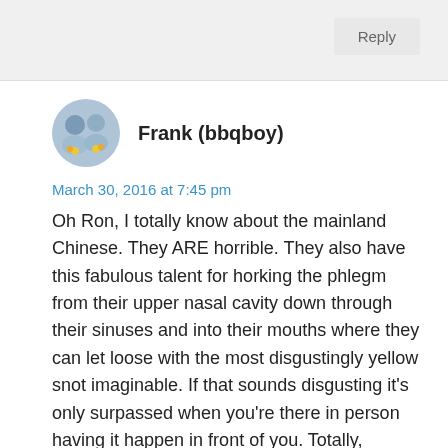Reply
Frank (bbqboy)
March 30, 2016 at 7:45 pm
Oh Ron, I totally know about the mainland Chinese. They ARE horrible. They also have this fabulous talent for horking the phlegm from their upper nasal cavity down through their sinuses and into their mouths where they can let loose with the most disgustingly yellow snot imaginable. If that sounds disgusting it's only surpassed when you're there in person having it happen in front of you. Totally,